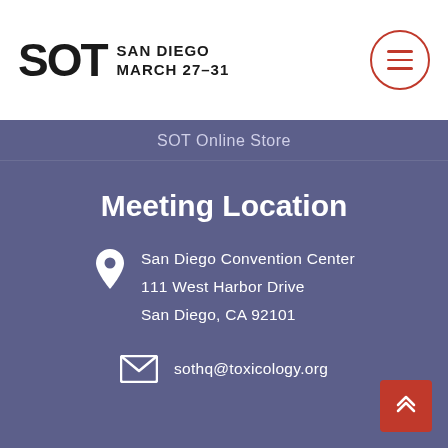SOT SAN DIEGO MARCH 27–31
SOT Online Store
Meeting Location
San Diego Convention Center
111 West Harbor Drive
San Diego, CA 92101
sothq@toxicology.org